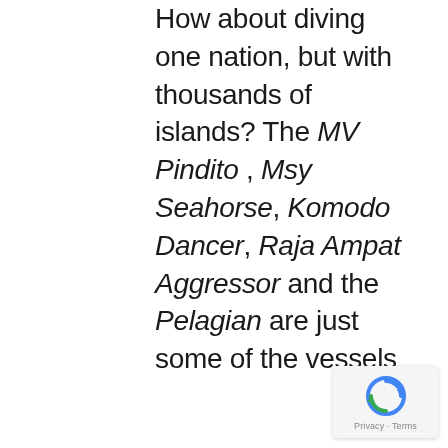How about diving one nation, but with thousands of islands? The MV Pindito , Msy Seahorse, Komodo Dancer, Raja Ampat Aggressor and the Pelagian are just some of the vessels
[Figure (other): Google reCAPTCHA badge with blue arrow icon and 'Privacy - Terms' text]